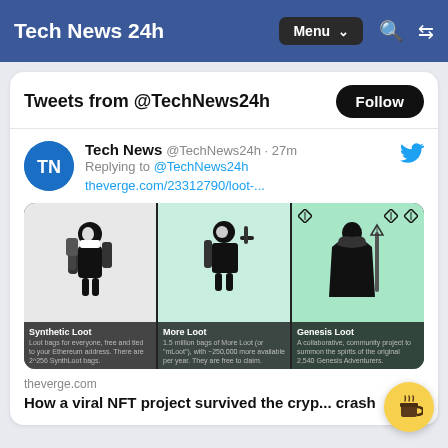Tech News 24h   Menu   🔍 ⇄
Tweets from @TechNews24h
Tech News @TechNews24h · 27m
Replying to @TechNews24h
theverge.com/23312790/loot-...
[Figure (illustration): Three NFT character cards: Synthetic Loot (backpacker character on gray background), More Loot (armored warrior with weapon on light blue background), Genesis Loot (robed figure with staff on mint green background with diamond symbols)]
theverge.com
How a viral NFT project survived the crypto crash